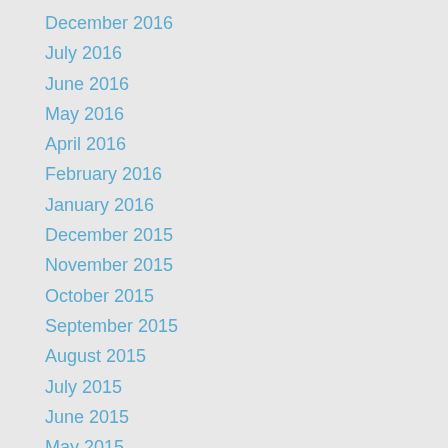December 2016
July 2016
June 2016
May 2016
April 2016
February 2016
January 2016
December 2015
November 2015
October 2015
September 2015
August 2015
July 2015
June 2015
May 2015
April 2015
March 2015
January 2015
December 2014
November 2014